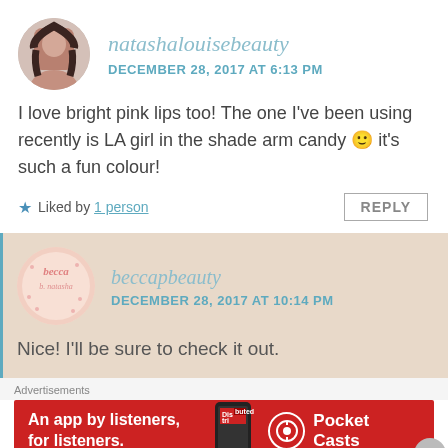[Figure (illustration): Circular avatar photo of a young woman with long dark hair, white background]
natashalouisebeauty
DECEMBER 28, 2017 AT 6:13 PM
I love bright pink lips too! The one I’ve been using recently is LA girl in the shade arm candy 🙂 it’s such a fun colour!
★ Liked by 1 person
REPLY
[Figure (logo): Circular becca b. natasha logo in pink handwritten style]
beccapbeauty
DECEMBER 28, 2017 AT 10:14 PM
Nice! I’ll be sure to check it out.
Advertisements
[Figure (screenshot): Red Pocket Casts advertisement banner: An app by listeners, for listeners.]